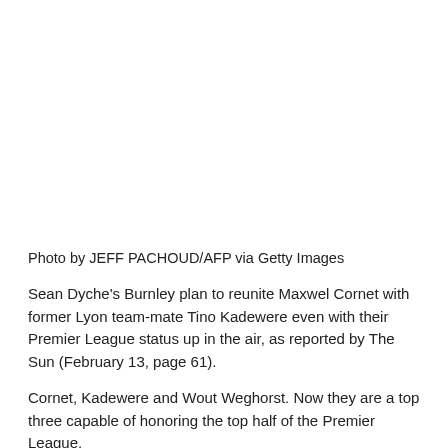Photo by JEFF PACHOUD/AFP via Getty Images
Sean Dyche's Burnley plan to reunite Maxwel Cornet with former Lyon team-mate Tino Kadewere even with their Premier League status up in the air, as reported by The Sun (February 13, page 61).
Cornet, Kadewere and Wout Weghorst. Now they are a top three capable of honoring the top half of the Premier League.
Whether Burnley will still be a top-flight side when the transfer window opens again this summer, however, is anyone's guess.